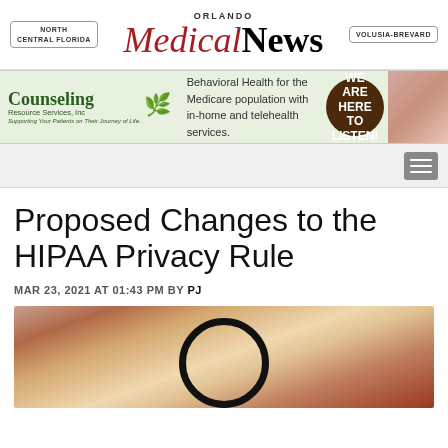ORLANDO Medical News — NORTH CENTRAL FLORIDA | VOLUSIA-BREVARD
[Figure (infographic): Counseling Resource Services, Inc. advertisement banner: Behavioral Health for the Medicare population with in-home and telehealth services. WE ARE HERE TO LISTEN!]
Proposed Changes to the HIPAA Privacy Rule
MAR 23, 2021 AT 01:43 PM BY PJ
[Figure (photo): Close-up photo of a stethoscope on top of medical/legal documents, blurred background with orange-brown tones]